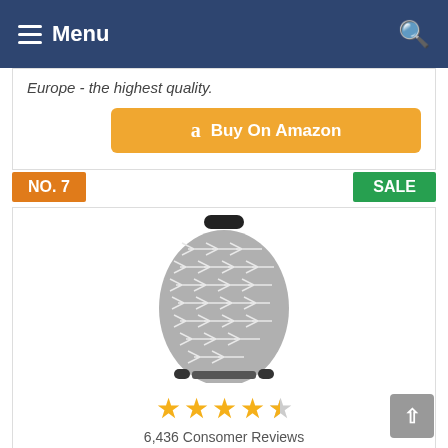Menu
Europe - the highest quality.
Buy On Amazon
NO. 7
SALE
[Figure (photo): Baby car seat cover / nursing cover with gray and white arrow pattern design, shown fitted over a car seat]
6,436 Consomer Reviews
Nursing Cover Breastfeeding Scarf